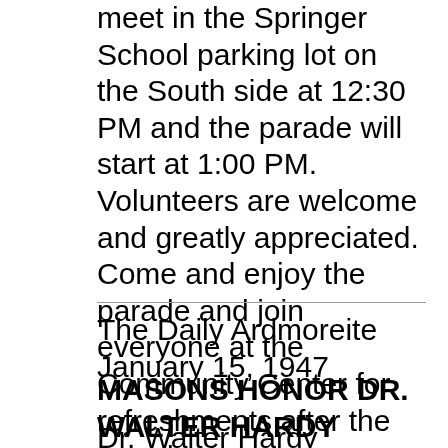meet in the Springer School parking lot on the South side at 12:30 PM and the parade will start at 1:00 PM. Volunteers are welcome and greatly appreciated. Come and enjoy the parade and join everyone at the Community Center for refreshments after the parade.
The Daily Ardmoreite January 15, 1947
MASONS HONOR DR. WALTER HARDY
Dr. Walter Hardy Tuesday night